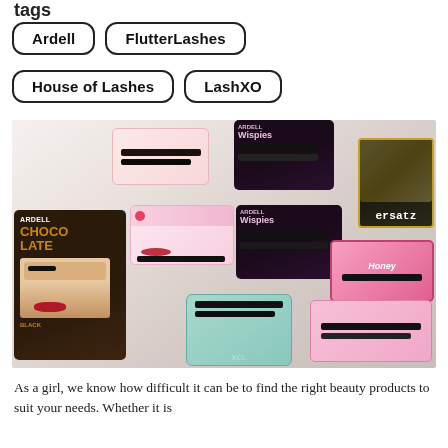tags
Ardell
FlutterLashes
House of Lashes
LashXO
[Figure (photo): Flat lay photo of multiple false eyelash brand packages on a white fluffy surface including Ardell Chocolate, Ardell Wispies, House of Lashes floral packages, LashXO mint green packages, and pink brand packages]
As a girl, we know how difficult it can be to find the right beauty products to suit your needs. Whether it is